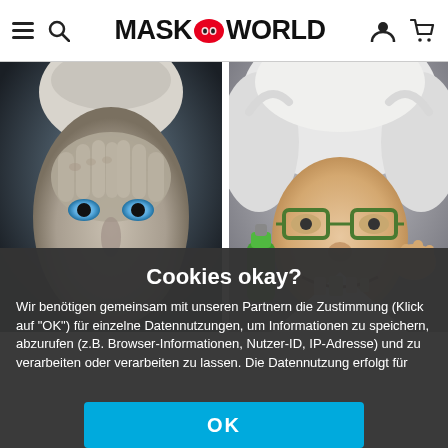MASK WORLD — navigation header with hamburger menu, search, logo, user and cart icons
[Figure (photo): Left product photo: a creepy alien/monster mask with pale skin, visible hand over face, blue eyes — horror costume mask]
[Figure (photo): Right product photo: a funny mad scientist character with wild white hair, thick glasses, bad teeth wig, holding a green bottle]
Cookies okay?
Wir benötigen gemeinsam mit unseren Partnern die Zustimmung (Klick auf "OK") für einzelne Datennutzungen, um Informationen zu speichern, abzurufen (z.B. Browser-Informationen, Nutzer-ID, IP-Adresse) und zu verarbeiten oder verarbeiten zu lassen. Die Datennutzung erfolgt für
OK